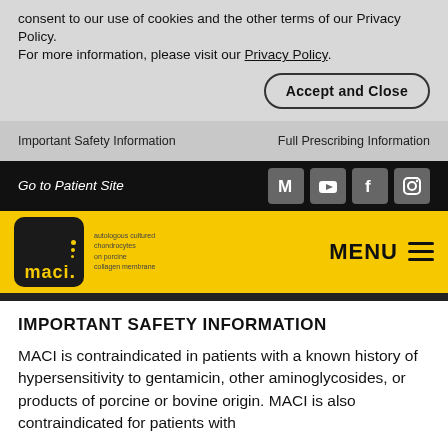Cookie Notice: By continuing to use this website, you consent to our use of cookies and the other terms of our Privacy Policy.
For more information, please visit our Privacy Policy.
Accept and Close
Important Safety Information
Full Prescribing Information
Go to Patient Site
[Figure (logo): MACI logo with yellow background, black square with MACI text and dots]
MENU
IMPORTANT SAFETY INFORMATION
MACI is contraindicated in patients with a known history of hypersensitivity to gentamicin, other aminoglycosides, or products of porcine or bovine origin. MACI is also contraindicated for patients with